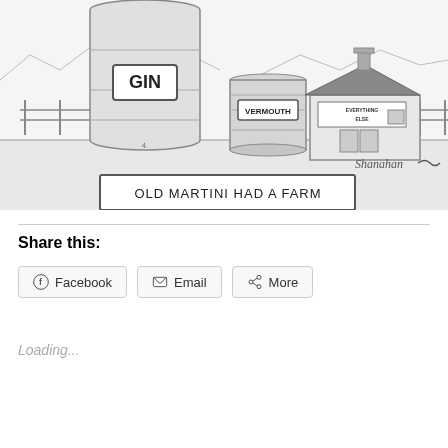[Figure (illustration): A New Yorker-style cartoon by Shanahan showing a farm scene where a large GIN bottle/silo and a smaller VERMOUTH silo/container stand next to a barn labeled 'EVERYTHING ELSE', with mountains in the background and a fence, captioned 'OLD MARTINI HAD A FARM']
Share this:
Facebook  Email  More
Loading...